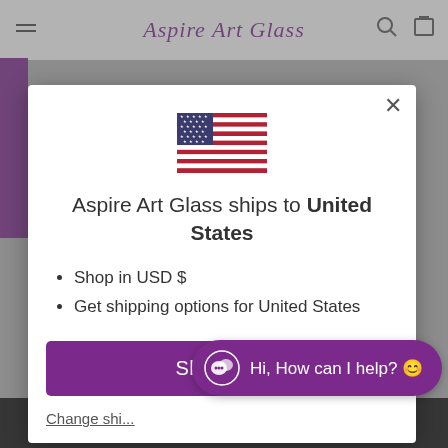[Figure (screenshot): Background webpage of Aspire Art Glass website, grayed out behind modal]
[Figure (screenshot): Modal dialog: US flag icon, shipping destination announcement for United States, shop now button, change shipping link, and chat widget]
Aspire Art Glass ships to United States
Shop in USD $
Get shipping options for United States
Shop now
Change shipping
Hi, How can I help? 😊